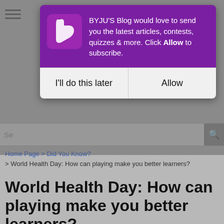[Figure (screenshot): BYJU'S Blog push notification popup asking user to subscribe. Purple header with BYJU'S logo and message 'BYJU'S Blog would love to send you the latest articles, contests, quizzes & more. Click Allow to subscribe.' Two buttons: 'I'll do this later' and 'Allow'.]
Home Page > Did You Know? > World Health Day: How can playing make you better learners?
World Health Day: How can playing make you better learners?
Team StoryWeavers | May 30, 2022, 17:41 IST | 5 💬
[Figure (other): Social sharing icons for WhatsApp, Facebook, Twitter, Email, and LinkedIn]